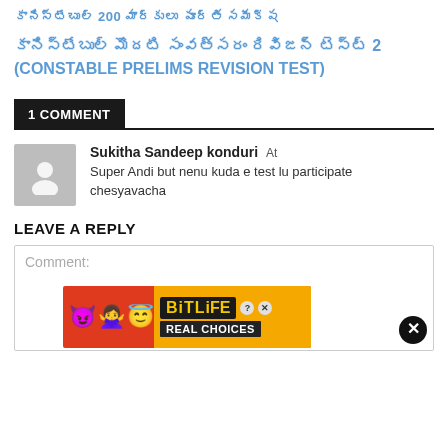కానిస్టేబుల్ 200 మార్కులు పూర్తి సమీక్ష
కానిస్టేబుల్ మొదటి సంవత్సరం రివిజన్ టెస్ట్ 2 (CONSTABLE PRELIMS REVISION TEST)
1 COMMENT
Sukitha Sandeep konduri At
Super Andi but nenu kuda e test lu participate chesyavacha
LEAVE A REPLY
Comment:
[Figure (illustration): BitLife Real Choices advertisement banner with emoji characters on red background]